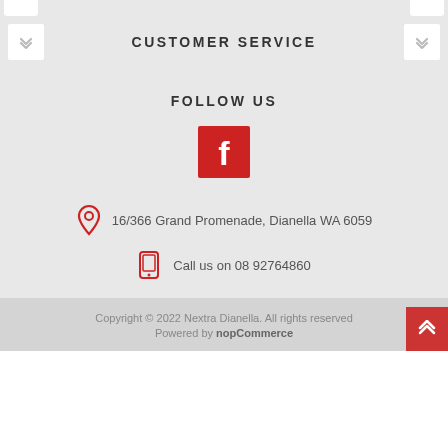CUSTOMER SERVICE
FOLLOW US
[Figure (logo): Facebook icon — red square with white 'f' letter]
16/366 Grand Promenade, Dianella WA 6059
Call us on 08 92764860
Copyright © 2022 Nextra Dianella. All rights reserved. Powered by nopCommerce